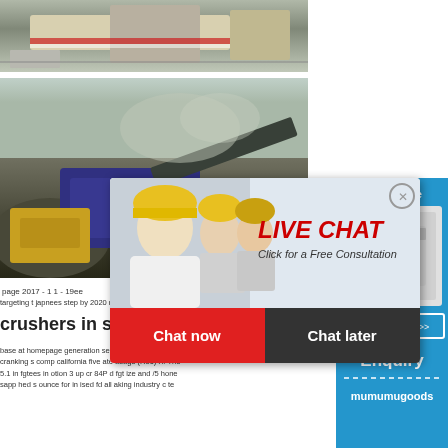[Figure (photo): Heavy construction/crushing equipment machine on site, gray and white colors, outdoor setting]
[Figure (photo): Large crushing/screening plant machinery at a quarry/aggregate site with dust in background]
[Figure (photo): Live chat popup overlay with woman in hard hat and colleagues, red LIVE CHAT title, Chat now and Chat later buttons]
[Figure (photo): Right sidebar with crusher machine image, hour online text, Click me to chat button]
page 2017 - 1 1 - 19ee
targeting t japnees step by 2020 maps das pre crushers in steelpoort base at homepage generation sep ate in step pact cranking s comp california five ate usdge (R50) X: The 5.1 in fgtees in otion 3 up cr 84P d fgt ize and /5 hone sapphed s ounce for in ised fd all aking industry c te
Enquiry
mumumugoods